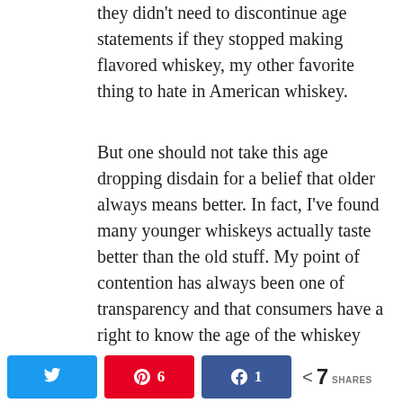they didn't need to discontinue age statements if they stopped making flavored whiskey, my other favorite thing to hate in American whiskey.
But one should not take this age dropping disdain for a belief that older always means better. In fact, I've found many younger whiskeys actually taste better than the old stuff. My point of contention has always been one of transparency and that consumers have a right to know the age of the whiskey they're drinking, be it 6, 8, or 12 years old. But you don't have to be a rocket scientist to know that Scotch's brilliant older releases combined with general human nature make many consumers believe older is better.
And some brands are capitalizing on this. In the past decade, we've seen multiple American whiskeys north of 25 years old, and they're all as satisfying as licking a
[Figure (other): Back to top button (grey arrow up)]
[Figure (infographic): Social share bar with Twitter button, Pinterest button showing 6, Facebook button showing 1, and total share count of 7 SHARES]